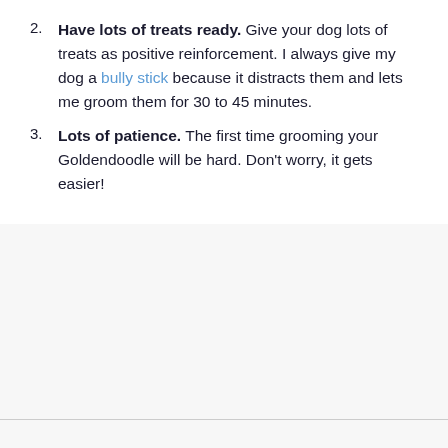Have lots of treats ready. Give your dog lots of treats as positive reinforcement. I always give my dog a bully stick because it distracts them and lets me groom them for 30 to 45 minutes.
Lots of patience. The first time grooming your Goldendoodle will be hard. Don't worry, it gets easier!